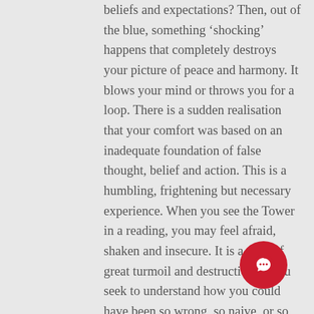beliefs and expectations? Then, out of the blue, something ‘shocking’ happens that completely destroys your picture of peace and harmony. It blows your mind or throws you for a loop. There is a sudden realisation that your comfort was based on an inadequate foundation of false thought, belief and action. This is a humbling, frightening but necessary experience. When you see the Tower in a reading, you may feel afraid, shaken and insecure. It is a time of great turmoil and destruction as you seek to understand how you could have been so wrong, so naive, or so blind about a particularly situation. And now, what will you do and how will you manage in the face of this shocking truth? You may be experiencing sleepless nights, depression, grief, anger and confrontation. These are
[Figure (other): Red circular chat/message button icon in the bottom right area of the page]